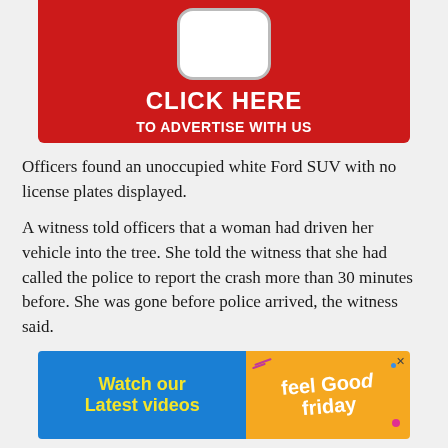[Figure (illustration): Red advertisement banner with white rounded phone/device graphic at top, text 'CLICK HERE TO ADVERTISE WITH US' in white bold font on red background]
Officers found an unoccupied white Ford SUV with no license plates displayed.
A witness told officers that a woman had driven her vehicle into the tree. She told the witness that she had called the police to report the crash more than 30 minutes before. She was gone before police arrived, the witness said.
[Figure (illustration): Advertisement banner with blue left side showing 'Watch our Latest videos' in yellow bold text, and orange/yellow right side with 'feel Good Friday' in cursive white text with decorative elements]
Officers were able to acquire registration information via the vehicle's VIN and discovered that it belonged to Housel.
While looking over the vehicle, officers saw a Zip Top baggie, containing a white residue, near the vehicle's gear-